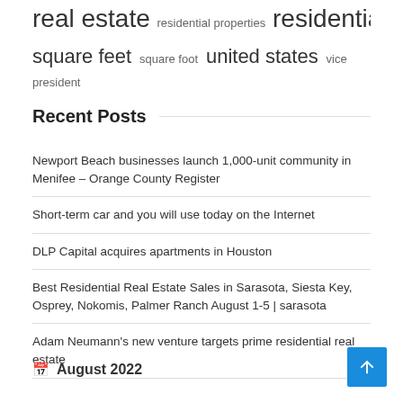real estate  residential properties  residential real  square feet  square foot  united states  vice president
Recent Posts
Newport Beach businesses launch 1,000-unit community in Menifee – Orange County Register
Short-term car and you will use today on the Internet
DLP Capital acquires apartments in Houston
Best Residential Real Estate Sales in Sarasota, Siesta Key, Osprey, Nokomis, Palmer Ranch August 1-5 | sarasota
Adam Neumann's new venture targets prime residential real estate
August 2022